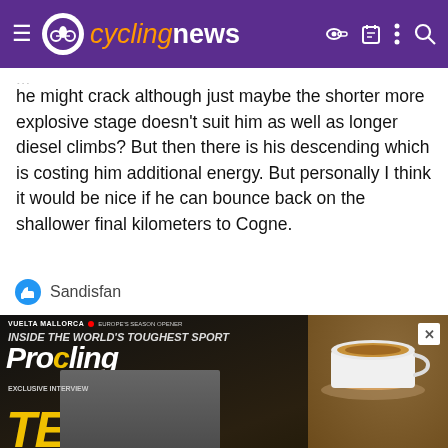cyclingnews
he might crack although just maybe the shorter more explosive stage doesn't suit him as well as longer diesel climbs? But then there is his descending which is costing him additional energy. But personally I think it would be nice if he can bounce back on the shallower final kilometers to Cogne.
Sandisfan
[Figure (photo): Advertisement for ProCycling magazine showing magazine cover with cyclist and text SAVE UP TO 32%]
[Figure (infographic): Pet Food, Products, Supplies at Low Prices - Chewy.com advertisement banner]